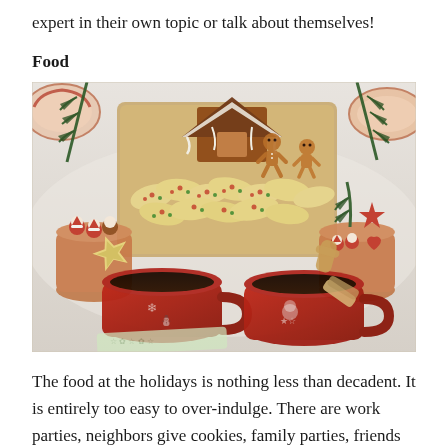expert in their own topic or talk about themselves!
Food
[Figure (photo): A festive holiday table spread with Christmas cookies including gingerbread men, star-shaped cookies, and decorated sugar cookies, along with two red Christmas mugs filled with dark liquid (coffee or mulled wine), star-shaped cookies balanced on the mugs, small chocolate Santas and reindeer decorations, and pine/holly greenery accents on a white tablecloth.]
The food at the holidays is nothing less than decadent. It is entirely too easy to over-indulge. There are work parties, neighbors give cookies, family parties, friends